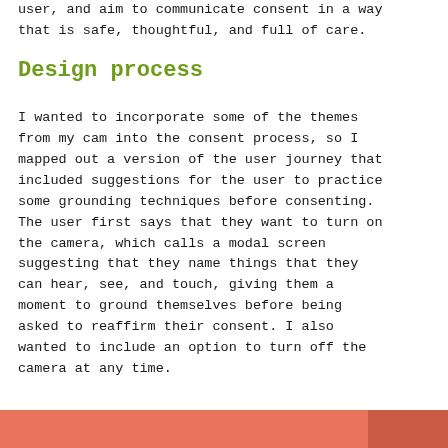user, and aim to communicate consent in a way that is safe, thoughtful, and full of care.
Design process
I wanted to incorporate some of the themes from my cam into the consent process, so I mapped out a version of the user journey that included suggestions for the user to practice some grounding techniques before consenting. The user first says that they want to turn on the camera, which calls a modal screen suggesting that they name things that they can hear, see, and touch, giving them a moment to ground themselves before being asked to reaffirm their consent. I also wanted to include an option to turn off the camera at any time.